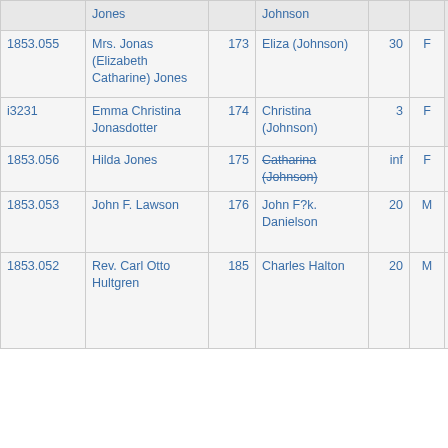| ID | Name | Manifest # | Manifest Name | Age | Sex | Notes |
| --- | --- | --- | --- | --- | --- | --- |
|  | Jones |  | Johnson |  |  | parish, Kalmar län. Manifest indicates Hilda Catharine died on voyage. The family is listed in the 1860 census with one daughter born at sea. Four births were tallied for this voyage, but no births are identified on the manifest. |
| 1853.055 | Mrs. Jonas (Elizabeth Catharine) Jones | 173 | Eliza (Johnson) | 30 | F | parish, Kalmar län. Manifest indicates Hilda Catharine died on voyage. The family is listed in the 1860 census with one daughter born at sea. Four births were tallied for this voyage, but no births are identified on the manifest. |
| i3231 | Emma Christina Jonasdotter | 174 | Christina (Johnson) | 3 | F |  |
| 1853.056 | Hilda Jones | 175 | Catharina (Johnson) [strikethrough] | inf | F |  |
| 1853.053 | John F. Lawson | 176 | John F?k. Danielson | 20 | M | Tailor. Besked No.4 Fröreda Storgård, Järeda Parish, Kalmar län |
| 1853.052 | Rev. Carl Otto Hultgren | 185 | Charles Halton | 20 | M | Plasterer; Besked No. 3, Kyrkobråten, Målilla med Gårdveda Parish, Kalmar. Future Lutheran minister in Jamestown. His family settled in |